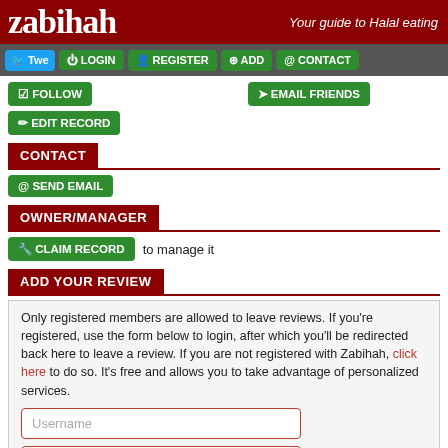zabihah — Your guide to Halal eating
LOGIN | REGISTER | ADD | CONTACT
FOLLOW
EMAIL FRIENDS
EDIT RECORD
CONTACT
SEND EMAIL
OWNER/MANAGER
CLAIM RECORD to manage it
ADD YOUR REVIEW
Only registered members are allowed to leave reviews. If you're registered, use the form below to login, after which you'll be redirected back here to leave a review. If you are not registered with Zabihah, click here to do so. It's free and allows you to take advantage of personalized services.
Username
Password
LOGIN TO ZABIHAH